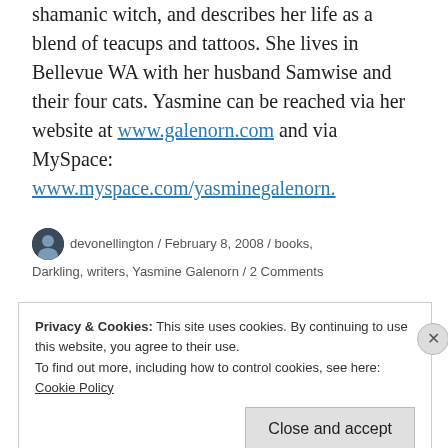shamanic witch, and describes her life as a blend of teacups and tattoos. She lives in Bellevue WA with her husband Samwise and their four cats. Yasmine can be reached via her website at www.galenorn.com and via MySpace: www.myspace.com/yasminegalenorn.
devonellington / February 8, 2008 / books, Darkling, writers, Yasmine Galenorn / 2 Comments
Privacy & Cookies: This site uses cookies. By continuing to use this website, you agree to their use. To find out more, including how to control cookies, see here: Cookie Policy Close and accept